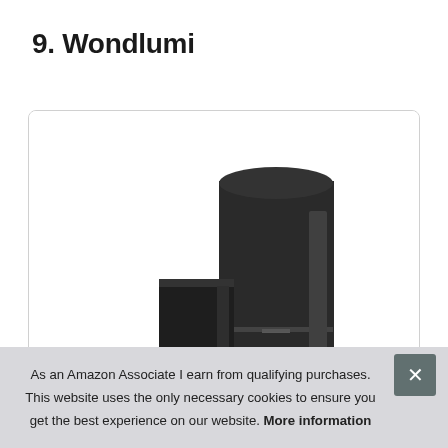9. Wondlumi
[Figure (photo): Product photo of Wondlumi device — dark cylindrical and rectangular black smart home or lighting device components against white background inside a rounded-corner card]
As an Amazon Associate I earn from qualifying purchases. This website uses the only necessary cookies to ensure you get the best experience on our website. More information